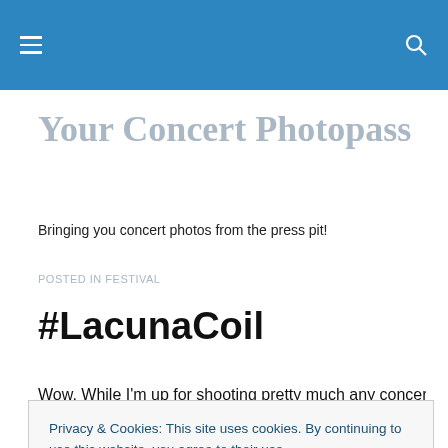Your Concert Photopass [navigation bar with hamburger menu and search icon]
Your Concert Photopass
Bringing you concert photos from the press pit!
POSTED IN FESTIVAL
#LacunaCoil
Wow. While I'm up for shooting pretty much any concert ... international band that I expected to never see them live.
Privacy & Cookies: This site uses cookies. By continuing to use this website, you agree to their use.
To find out more, including how to control cookies, see here: Cookie Policy
Close and accept